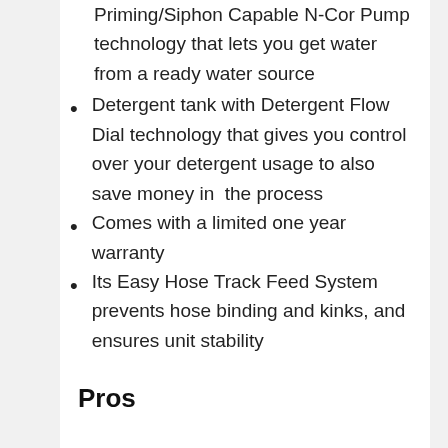Priming/Siphon Capable N-Cor Pump technology that lets you get water from a ready water source
Detergent tank with Detergent Flow Dial technology that gives you control over your detergent usage to also save money in the process
Comes with a limited one year warranty
Its Easy Hose Track Feed System prevents hose binding and kinks, and ensures unit stability
Pros